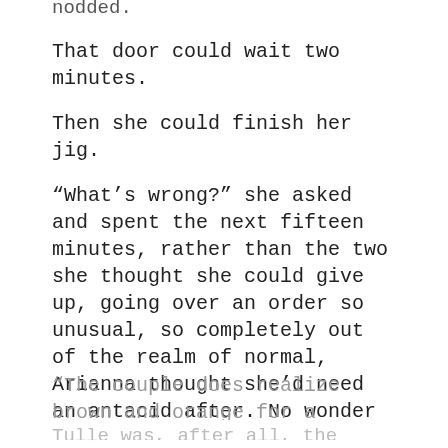nodded.
That door could wait two minutes.
Then she could finish her jig.
“What’s wrong?” she asked and spent the next fifteen minutes, rather than the two she thought she could give up, going over an order so unusual, so completely out of the realm of normal, Arianna thought she’d need an antacid after. No wonder Colleen had issues.
“The couple does realize brown and orange for a wedding screams seventies, right?” Arianna …
Tulle was, after all, the Devil’s textile.
“Don’t even get me started.” Colleen mumbled
“They want it to match their ports team. They fell…
We use cookies on our website to give you the most relevant experience by remembering your preferences and repeat visits. By clicking “Accept”, you consent to the use of ALL the cookies. However you may visit Cookie Settings to provide a controlled consent.
Cookie settings
ACCEPT